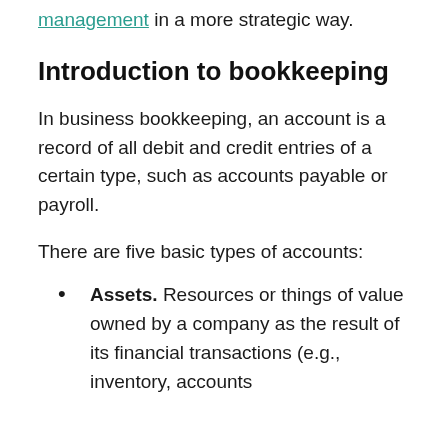management in a more strategic way.
Introduction to bookkeeping
In business bookkeeping, an account is a record of all debit and credit entries of a certain type, such as accounts payable or payroll.
There are five basic types of accounts:
Assets. Resources or things of value owned by a company as the result of its financial transactions (e.g., inventory, accounts